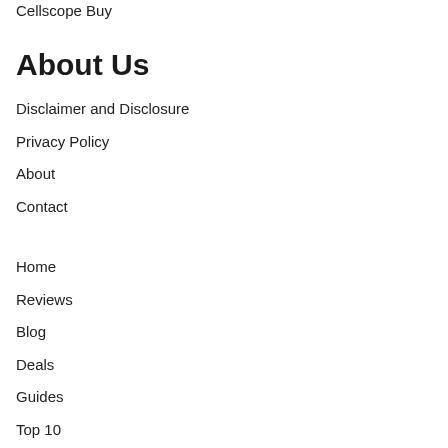Cellscope Buy
About Us
Disclaimer and Disclosure
Privacy Policy
About
Contact
Home
Reviews
Blog
Deals
Guides
Top 10
Appliances